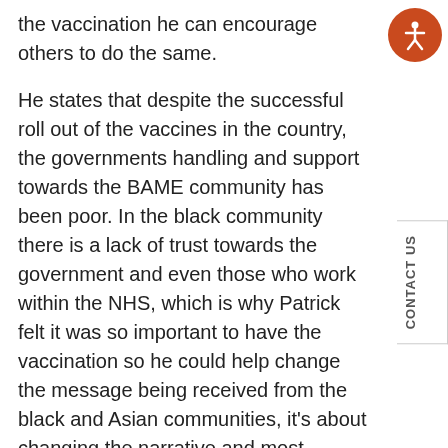the vaccination he can encourage others to do the same.
He states that despite the successful roll out of the vaccines in the country, the governments handling and support towards the BAME community has been poor. In the black community there is a lack of trust towards the government and even those who work within the NHS, which is why Patrick felt it was so important to have the vaccination so he could help change the message being received from the black and Asian communities, it's about changing the narrative and most importantly, saving lives.
The black and Asian community represent 13% of the UK population yet 1 in 3 of us are dying from COVID which is why we must be taking the vaccine when we can. Patrick urges and encourages everyone to get vaccinated and worry about politics later.
You can listen to Patrick's full interview here (33:50 – 40:20).